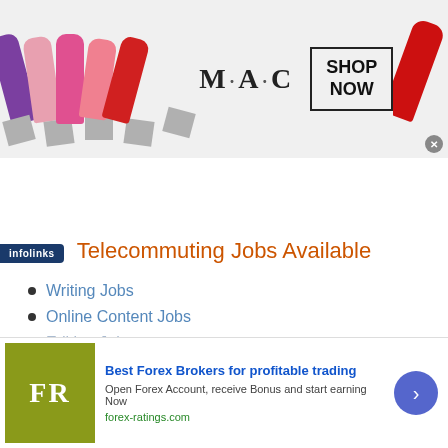[Figure (illustration): MAC cosmetics banner advertisement showing multiple lipsticks on left, MAC logo and SHOP NOW box in center, red lipstick on right]
Telecommuting Jobs Available
Writing Jobs
Online Content Jobs
Editing Jobs
[Figure (illustration): Bottom ad for forex-ratings.com: Best Forex Brokers for profitable trading. Open Forex Account, receive Bonus and start earning Now. forex-ratings.com]